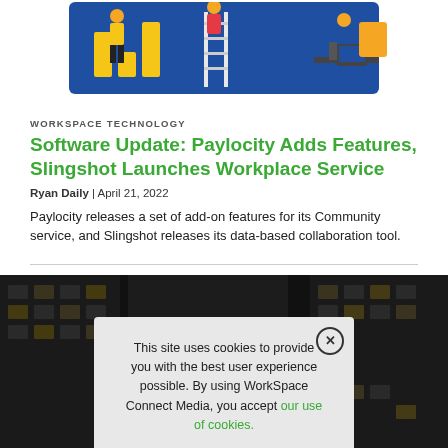[Figure (illustration): Illustrated banner showing office workers in a stylized workplace setting with a bar chart, ladder, and desk scene against a blue background.]
WORKSPACE TECHNOLOGY
Software Update: Paylocity Adds Features, Slingshot Launches Workplace Service
Ryan Daily | April 21, 2022
Paylocity releases a set of add-on features for its Community service, and Slingshot releases its data-based collaboration tool.
[Figure (photo): Night-time photograph of a multi-story office building with lit windows, overlaid with a cookie consent modal dialog.]